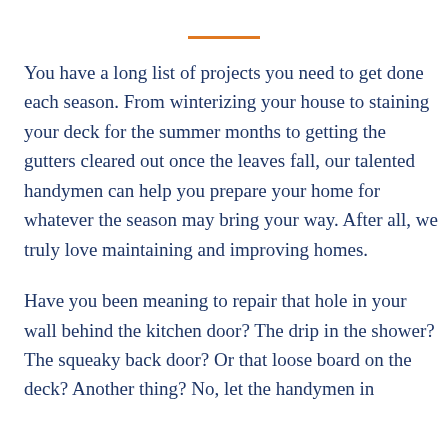You have a long list of projects you need to get done each season. From winterizing your house to staining your deck for the summer months to getting the gutters cleared out once the leaves fall, our talented handymen can help you prepare your home for whatever the season may bring your way. After all, we truly love maintaining and improving homes.
Have you been meaning to repair that hole in your wall behind the kitchen door? The drip in the shower? The squeaky back door? Or that loose board on the deck? Another thing? No, let the handymen in